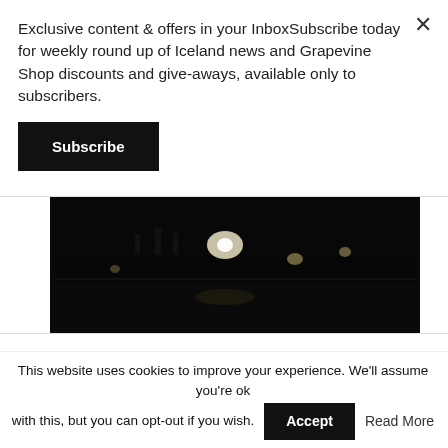Exclusive content & offers in your InboxSubscribe today for weekly round up of Iceland news and Grapevine Shop discounts and give-aways, available only to subscribers.
Subscribe
[Figure (photo): Dark nighttime street scene photo with lights visible]
Issue 8, 2022
[Figure (logo): The Reykjavik Grapevine magazine cover logo]
This website uses cookies to improve your experience. We'll assume you're ok with this, but you can opt-out if you wish. Accept   Read More